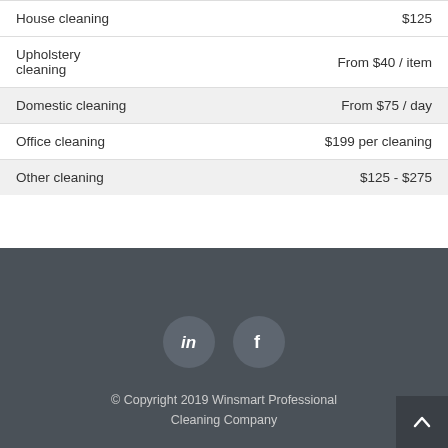| Service | Price |
| --- | --- |
| House cleaning | $125 |
| Upholstery cleaning | From $40 / item |
| Domestic cleaning | From $75 / day |
| Office cleaning | $199 per cleaning |
| Other cleaning | $125 - $275 |
[Figure (illustration): Social media icons: LinkedIn and Facebook circular buttons on dark background footer]
© Copyright 2019 Winsmart Professional Cleaning Company